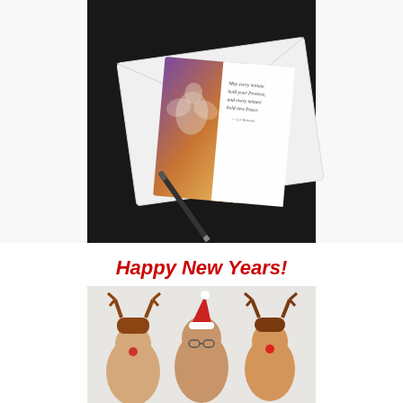[Figure (photo): A greeting card with an angel image and an inspirational quote, placed on a white envelope on a dark background, with a pen beside it. The card reads: 'May every minute hold your Promise, and every minute hold new Peace.']
Happy New Years!
[Figure (photo): Three people wearing festive Christmas hats (reindeer antler hats and a Santa hat), smiling and posing together against a light background.]